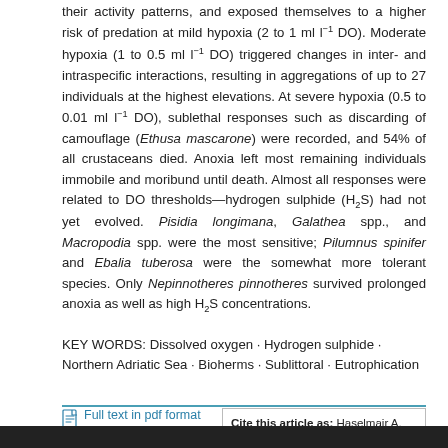their activity patterns, and exposed themselves to a higher risk of predation at mild hypoxia (2 to 1 ml l⁻¹ DO). Moderate hypoxia (1 to 0.5 ml l⁻¹ DO) triggered changes in inter- and intraspecific interactions, resulting in aggregations of up to 27 individuals at the highest elevations. At severe hypoxia (0.5 to 0.01 ml l⁻¹ DO), sublethal responses such as discarding of camouflage (Ethusa mascarone) were recorded, and 54% of all crustaceans died. Anoxia left most remaining individuals immobile and moribund until death. Almost all responses were related to DO thresholds—hydrogen sulphide (H₂S) had not yet evolved. Pisidia longimana, Galathea spp., and Macropodia spp. were the most sensitive; Pilumnus spinifer and Ebalia tuberosa were the somewhat more tolerant species. Only Nepinnotheres pinnotheres survived prolonged anoxia as well as high H₂S concentrations.
KEY WORDS: Dissolved oxygen · Hydrogen sulphide · Northern Adriatic Sea · Bioherms · Sublittoral · Eutrophication
Full text in pdf format
Cite this article as: Haselmair A, Stachowitsch M, Zuschin M, Riedel B (2010) Behaviour and mortality of benthic crustaceans in response to...
Copyright and Disclaimer · Privacy Policy · Contact